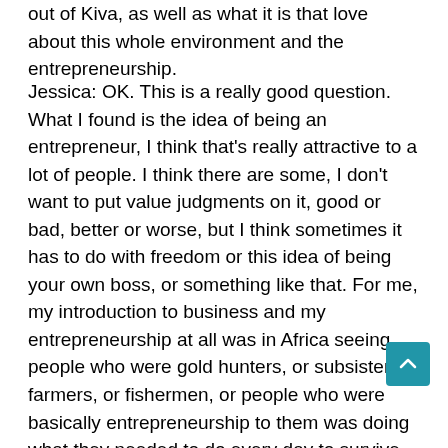out of Kiva, as well as what it is that love about this whole environment and the entrepreneurship.
Jessica: OK. This is a really good question. What I found is the idea of being an entrepreneur, I think that's really attractive to a lot of people. I think there are some, I don't want to put value judgments on it, good or bad, better or worse, but I think sometimes it has to do with freedom or this idea of being your own boss, or something like that. For me, my introduction to business and my entrepreneurship at all was in Africa seeing people who were gold hunters, or subsistence farmers, or fishermen, or people who were basically entrepreneurship to them was doing what they needed to do every day to survive. It was definitely not an option. They had to do the next thing, figure out the next step to get closer and closer to their goal to find food, and they could survive that day. It was very hand-to-mouth sort of entrepreneurship. It wasn't what we usually think of in Silicon Valley as entrepreneurship being super innovated perhaps or anything like that, but in context it was as innovative as anything else in Silicon Valley would have been, and as much